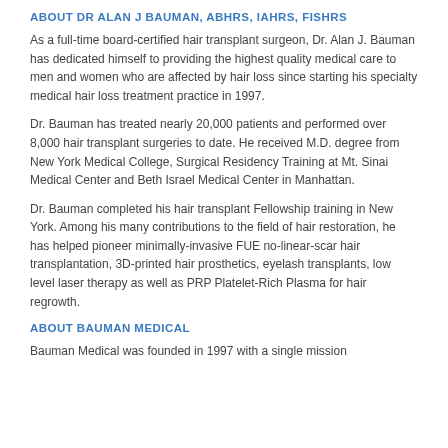ABOUT DR ALAN J BAUMAN, ABHRS, IAHRS, FISHRS
As a full-time board-certified hair transplant surgeon, Dr. Alan J. Bauman has dedicated himself to providing the highest quality medical care to men and women who are affected by hair loss since starting his specialty medical hair loss treatment practice in 1997.
Dr. Bauman has treated nearly 20,000 patients and performed over 8,000 hair transplant surgeries to date. He received M.D. degree from New York Medical College, Surgical Residency Training at Mt. Sinai Medical Center and Beth Israel Medical Center in Manhattan.
Dr. Bauman completed his hair transplant Fellowship training in New York. Among his many contributions to the field of hair restoration, he has helped pioneer minimally-invasive FUE no-linear-scar hair transplantation, 3D-printed hair prosthetics, eyelash transplants, low level laser therapy as well as PRP Platelet-Rich Plasma for hair regrowth.
ABOUT BAUMAN MEDICAL
Bauman Medical was founded in 1997 with a single mission